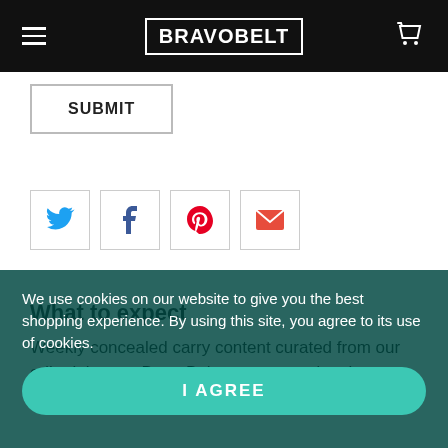BRAVOBELT
SUBMIT
[Figure (other): Social sharing icons row: Twitter (blue bird), Facebook (blue f), Pinterest (red P), Email (red envelope)]
What to expect
Weekly concealed carry content curated from our editorial team, BravoBelt partners, and rockstar guest bloggers.
We use cookies on our website to give you the best shopping experience. By using this site, you agree to its use of cookies.
I AGREE